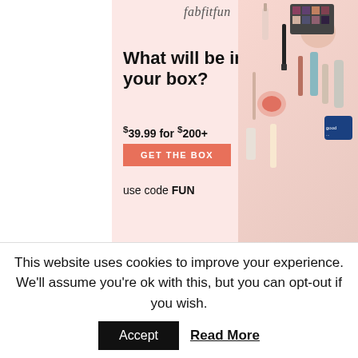[Figure (photo): FabFitFun subscription box advertisement. Pink background with beauty and cosmetic products on the right. Text on left: fabfitfun logo, 'What will be in your box?', '$39.99 for $200+', 'GET THE BOX' button, 'use code FUN'. Pink box with 'happiness inside' label at bottom.]
[Figure (photo): Minted advertisement on peach/tan background. Shows minted. logo, '30% OFF + FREE SHIPPING ON SCHOOL ESSENTIALS' text with personalized notebooks showing a child's photo on the right side.]
This website uses cookies to improve your experience. We'll assume you're ok with this, but you can opt-out if you wish.
Accept    Read More